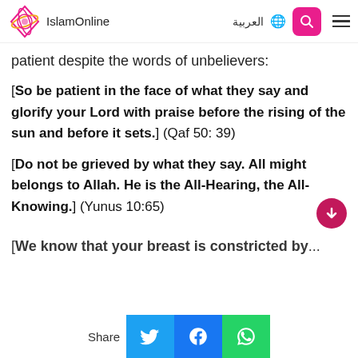IslamOnline | العربية
patient despite the words of unbelievers:
[So be patient in the face of what they say and glorify your Lord with praise before the rising of the sun and before it sets.] (Qaf 50: 39)
[Do not be grieved by what they say. All might belongs to Allah. He is the All-Hearing, the All-Knowing.] (Yunus 10:65)
[We know that your breast is constricted by...